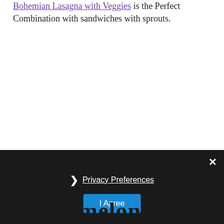Bohemian Lasagna with Veggies is the Perfect Combination with sandwiches with sprouts.
× Privacy Preferences I Agree
Watermelon Bread